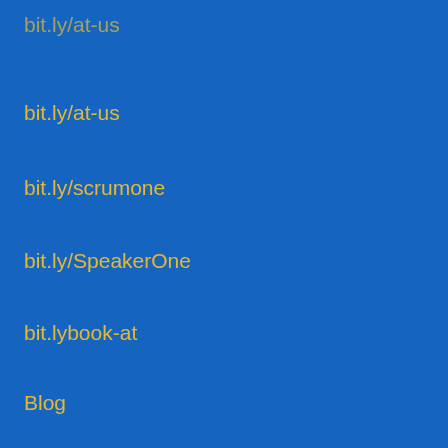bit.ly/at-us
bit.ly/scrumone
bit.ly/SpeakerOne
bit.lybook-at
Blog
Blog
Blog Article
BMC
BMC Blog